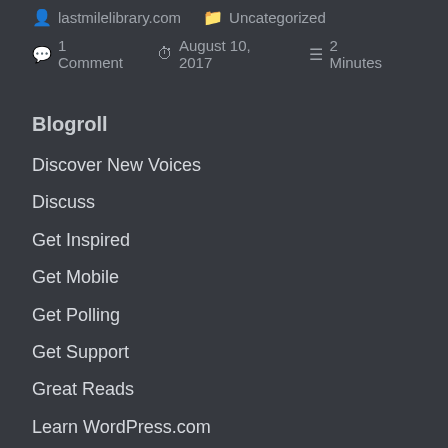lastmilelibrary.com   Uncategorized
1 Comment   August 10, 2017   2 Minutes
Blogroll
Discover New Voices
Discuss
Get Inspired
Get Mobile
Get Polling
Get Support
Great Reads
Learn WordPress.com
Theme Showcase
WordPress.com Blog